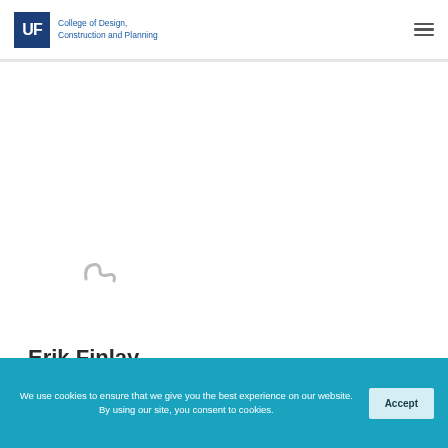UF College of Design, Construction and Planning
[Figure (photo): Loading spinner icon in a white profile card area on a light gray background]
Erik Finlay
We use cookies to ensure that we give you the best experience on our website. By using our site, you consent to cookies.